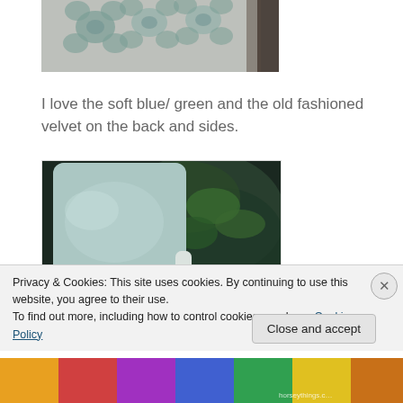[Figure (photo): Cropped top portion of a floral fabric with blue-green flower/leaf pattern on light pink/beige background]
I love the soft blue/ green and the old fashioned velvet on the back and sides.
[Figure (photo): Close-up photo of a light blue/grey velvet chair back with white frame/arm, with dark green foliage in the background]
Privacy & Cookies: This site uses cookies. By continuing to use this website, you agree to their use.
To find out more, including how to control cookies, see here: Cookie Policy
Close and accept